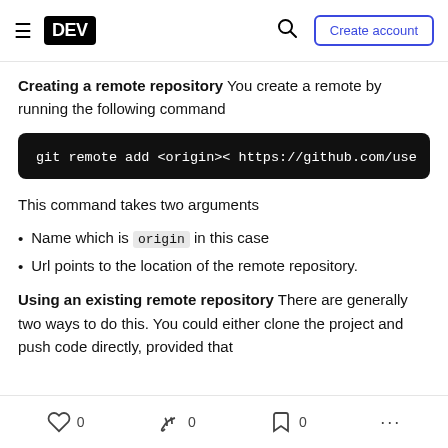DEV | Create account
Creating a remote repository You create a remote by running the following command
[Figure (screenshot): Code block on dark background showing: git remote add <origin>< https://github.com/use]
This command takes two arguments
Name which is origin in this case
Url points to the location of the remote repository.
Using an existing remote repository There are generally two ways to do this. You could either clone the project and push code directly, provided that
0  0  0  ...